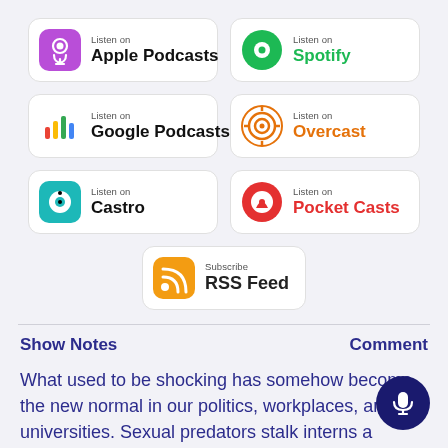[Figure (logo): Apple Podcasts badge: Listen on Apple Podcasts]
[Figure (logo): Spotify badge: Listen on Spotify]
[Figure (logo): Google Podcasts badge: Listen on Google Podcasts]
[Figure (logo): Overcast badge: Listen on Overcast]
[Figure (logo): Castro badge: Listen on Castro]
[Figure (logo): Pocket Casts badge: Listen on Pocket Casts]
[Figure (logo): RSS Feed badge: Subscribe RSS Feed]
Show Notes
Comment
What used to be shocking has somehow become the new normal in our politics, workplaces, and universities. Sexual predators stalk interns and teenagers abroad. Parents try to buy a for their kids in college.